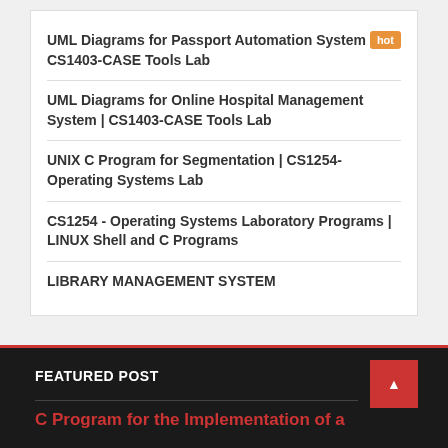UML Diagrams for Passport Automation System | CS1403-CASE Tools Lab
UML Diagrams for Online Hospital Management System | CS1403-CASE Tools Lab
UNIX C Program for Segmentation | CS1254-Operating Systems Lab
CS1254 - Operating Systems Laboratory Programs | LINUX Shell and C Programs
LIBRARY MANAGEMENT SYSTEM
FEATURED POST
C Program for the Implementation of a